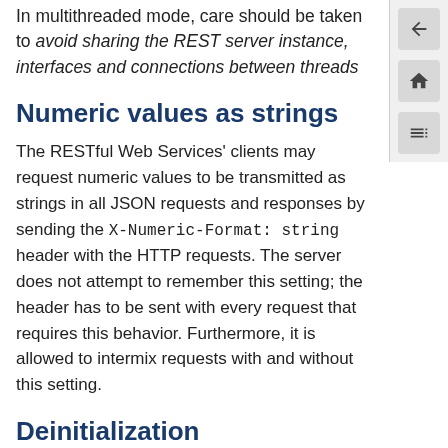In multithreaded mode, care should be taken to avoid sharing the REST server instance, interfaces and connections between threads
Numeric values as strings
The RESTful Web Services' clients may request numeric values to be transmitted as strings in all JSON requests and responses by sending the X-Numeric-Format: string header with the HTTP requests. The server does not attempt to remember this setting; the header has to be sent with every request that requires this behavior. Furthermore, it is allowed to intermix requests with and without this setting.
Deinitialization
All interfaces must be closed by calling